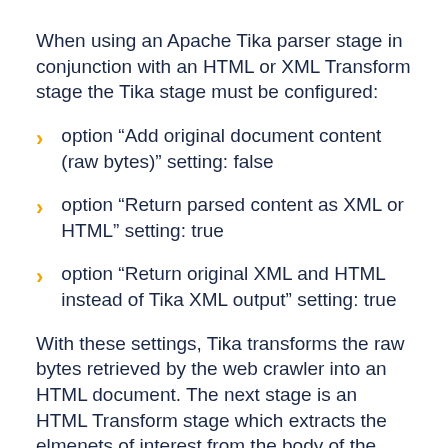When using an Apache Tika parser stage in conjunction with an HTML or XML Transform stage the Tika stage must be configured:
option “Add original document content (raw bytes)” setting: false
option “Return parsed content as XML or HTML” setting: true
option “Return original XML and HTML instead of Tika XML output” setting: true
With these settings, Tika transforms the raw bytes retrieved by the web crawler into an HTML document. The next stage is an HTML Transform stage which extracts the elmenets of interest from the body of the HTML